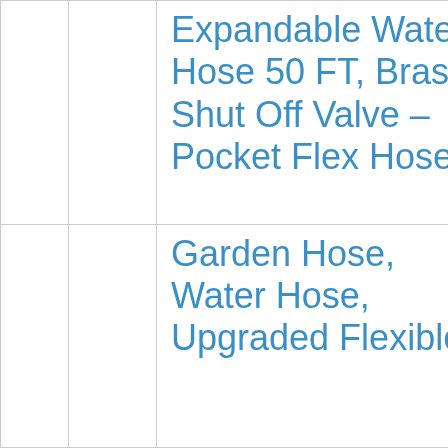|  |  | Expandable Water Hose 50 FT, Brass Shut Off Valve – Pocket Flex Hose |  |
|  |  | Garden Hose, Water Hose, Upgraded Flexible Fle... |  |